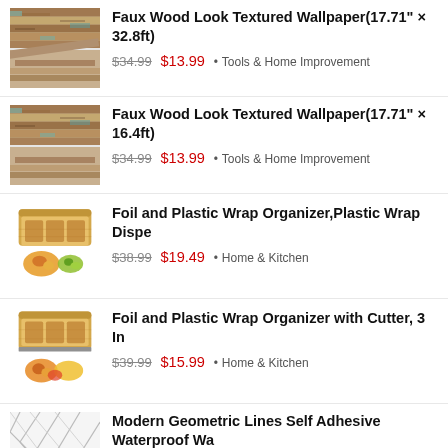[Figure (photo): Faux wood look textured wallpaper product image - first item]
Faux Wood Look Textured Wallpaper(17.71" × 32.8ft)
$34.99 $13.99 • Tools & Home Improvement
[Figure (photo): Faux wood look textured wallpaper product image - second item]
Faux Wood Look Textured Wallpaper(17.71" × 16.4ft)
$34.99 $13.99 • Tools & Home Improvement
[Figure (photo): Foil and Plastic Wrap Organizer product image]
Foil and Plastic Wrap Organizer,Plastic Wrap Dispe
$38.99 $19.49 • Home & Kitchen
[Figure (photo): Foil and Plastic Wrap Organizer with Cutter product image]
Foil and Plastic Wrap Organizer with Cutter, 3 In
$39.99 $15.99 • Home & Kitchen
[Figure (photo): Modern Geometric Lines Self Adhesive Waterproof Wallpaper product image]
Modern Geometric Lines Self Adhesive Waterproof Wa